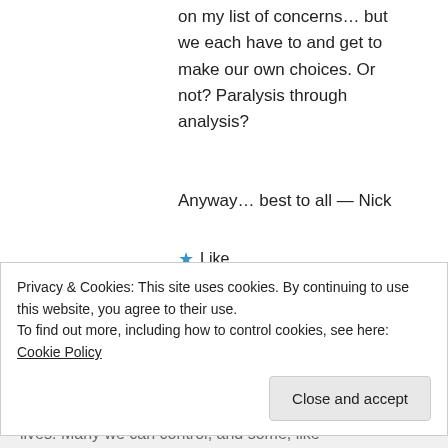on my list of concerns… but we each have to and get to make our own choices. Or not? Paralysis through analysis?
Anyway… best to all — Nick
★ Like
↪ Reply
Moira on January 23, 2015 at 12:00 pm
Privacy & Cookies: This site uses cookies. By continuing to use this website, you agree to their use.
To find out more, including how to control cookies, see here: Cookie Policy
Close and accept
lives. Many we can control, and some, like